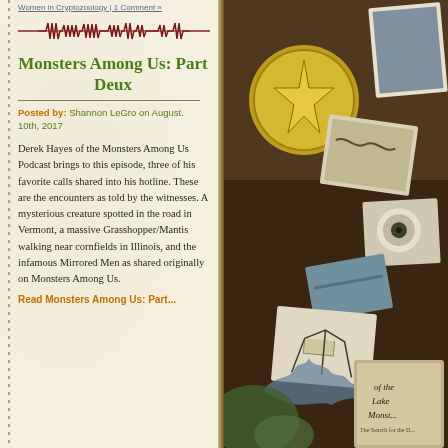Women in Cryptozoology | 1 Comment »
[Figure (illustration): Dark red waveform/audio wave divider line on cream background]
Monsters Among Us: Part Deux
Posted by: Shannon LeGro on August. 10th, 2017
Derek Hayes of the Monsters Among Us Podcast brings to this episode, three of his favorite calls shared into his hotline. These are the encounters as told by the witnesses. A mysterious creature spotted in the road in Vermont, a massive Grasshopper/Mantis walking near cornfields in Illinois, and the infamous Mirrored Men as shared originally on Monsters Among Us.
Read Monsters Among Us: Part...
[Figure (photo): Collage of cryptozoology-related images on brown background: gold star compass coin, photos of creature/monster illustrations, book covers including one about Lake Monsters, old photographs, nature scenes]